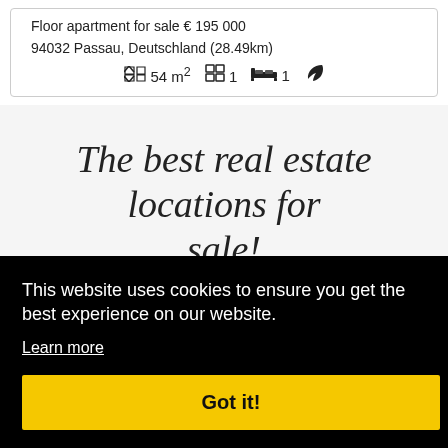Floor apartment for sale € 195 000
94032 Passau, Deutschland (28.49km)
54 m²  1  1
The best real estate locations for sale!
This website uses cookies to ensure you get the best experience on our website.
Learn more
Got it!
schl...
er...
e, ...
ser...
Zoll, Germany    Castrop-Rauxel, Germany